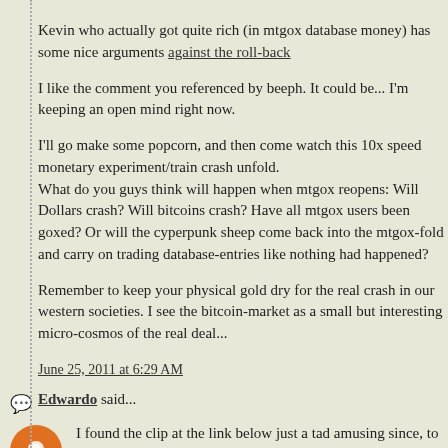Kevin who actually got quite rich (in mtgox database money) has some nice arguments against the roll-back
I like the comment you referenced by beeph. It could be... I'm keeping an open mind right now.
I'll go make some popcorn, and then come watch this 10x speed monetary experiment/train crash unfold.
What do you guys think will happen when mtgox reopens: Will Dollars crash? Will bitcoins crash? Have all mtgox users been goxed? Or will the cyperpunk sheep come back into the mtgox-fold and carry on trading database-entries like nothing had happened?
Remember to keep your physical gold dry for the real crash in our western societies. I see the bitcoin-market as a small but interesting micro-cosmos of the real deal...
June 25, 2011 at 6:29 AM
Edwardo said...
I found the clip at the link below just a tad amusing since, to my knowledge, Karl Denninger has never had anything remotely positive to say about the role gold plays in global monetary